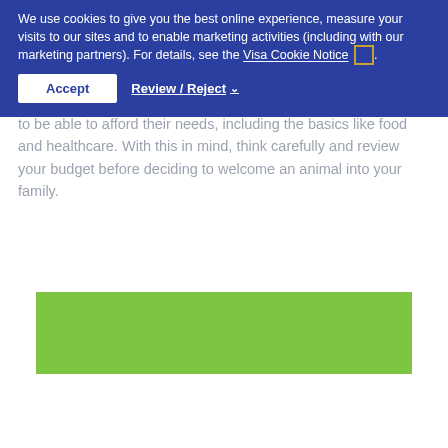companionship when you're feeling down and they can put a smile on your face. To provide the best life for a pet, you'll want to be able to afford their needs, including the basics like food and healthcare. With this in mind, think carefully and review your budget before deciding to welcome an animal into your family.
[Figure (photo): A green textured banner image]
We use cookies to give you the best online experience, measure your visits to our sites and to enable marketing activities (including with our marketing partners). For details, see the Visa Cookie Notice [cookie icon].